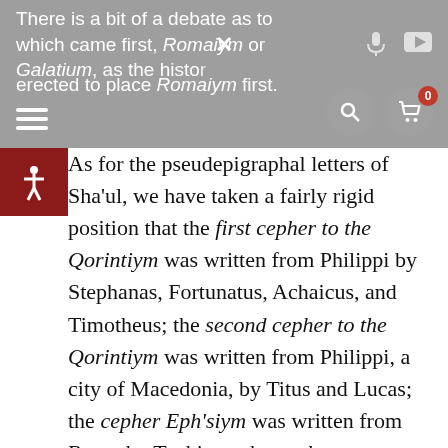There is a bit of a debate as to which came first, Romaiym or Galatium, as the historians elected to place Romaiym first.
As for the pseudepigraphal letters of Sha'ul, we have taken a fairly rigid position that the first cepher to the Qorintiym was written from Philippi by Stephanas, Fortunatus, Achaicus, and Timotheus; the second cepher to the Qorintiym was written from Philippi, a city of Macedonia, by Titus and Lucas; the cepher Eph'siym was written from Rome by Tychicus; the cepher Philippiym was written from Rome by Epaphroditus; the cepher to the Qolasiym was written from Rome by Tychicus and Onesimus.